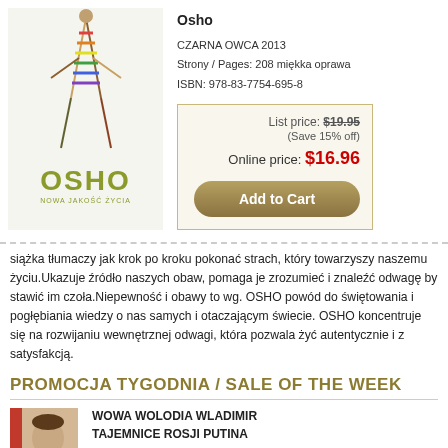[Figure (illustration): Book cover for OSHO with stylized figure illustration and OSHO logo in olive/green with tagline NOWA JAKOŚĆ ŻYCIA]
Osho
CZARNA OWCA 2013
Strony / Pages: 208 miękka oprawa
ISBN: 978-83-7754-695-8
List price: $19.95
(Save 15% off)
Online price: $16.96
Add to Cart
siążka tłumaczy jak krok po kroku pokonać strach, który towarzyszy naszemu życiu.Ukazuje źródło naszych obaw, pomaga je zrozumieć i znaleźć odwagę by stawić im czoła.Niepewność i obawy to wg. OSHO powód do świętowania i pogłębiania wiedzy o nas samych i otaczającym świecie. OSHO koncentruje się na rozwijaniu wewnętrznej odwagi, która pozwala żyć autentycznie i z satysfakcją.
PROMOCJA TYGODNIA / SALE OF THE WEEK
WOWA WOLODIA WLADIMIR
TAJEMNICE ROSJI PUTINA